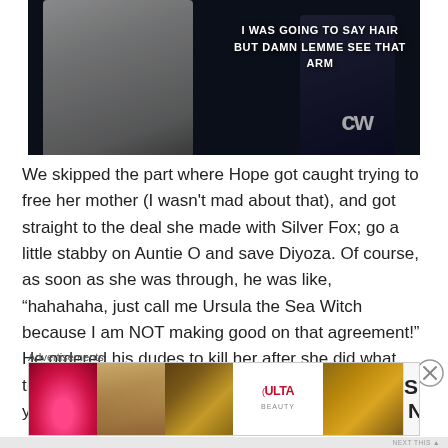[Figure (photo): Screenshot from a TV show (The CW network) showing two figures — one in a white jacket on the left, one in dark clothing on the right — with white bold text overlay reading 'I WAS GOING TO SAY HAIR BUT DAMN LEMME SEE THAT ARM' and the CW network logo]
We skipped the part where Hope got caught trying to free her mother (I wasn't mad about that), and got straight to the deal she made with Silver Fox; go a little stabby on Auntie O and save Diyoza. Of course, as soon as she was through, he was like, “hahahaha, just call me Ursula the Sea Witch because I am NOT making good on that agreement!” He ordered his dudes to kill her after she did what they wanted, then sent them to Sanctum with a, “see ya, wouldn’t wanna be ya.” (We all
Advertisements
[Figure (photo): Ulta Beauty advertisement banner showing close-up beauty/makeup images and the text 'SHOP NOW']